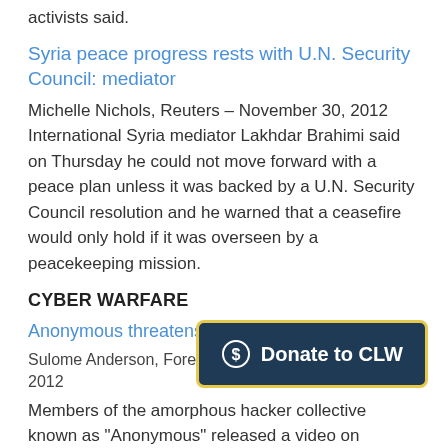activists said.
Syria peace progress rests with U.N. Security Council: mediator
Michelle Nichols, Reuters – November 30, 2012
International Syria mediator Lakhdar Brahimi said on Thursday he could not move forward with a peace plan unless it was backed by a U.N. Security Council resolution and he warned that a ceasefire would only hold if it was overseen by a peacekeeping mission.
CYBER WARFARE
Anonymous threatens Morsy with cyberwarfare
Sulome Anderson, Foreign... 2012
Members of the amorphous hacker collective known as "Anonymous" released a video on YouTube Tuesday warning Egyptian president
[Figure (other): Donate to CLW button with dollar sign icon, navy blue background with yellow border]